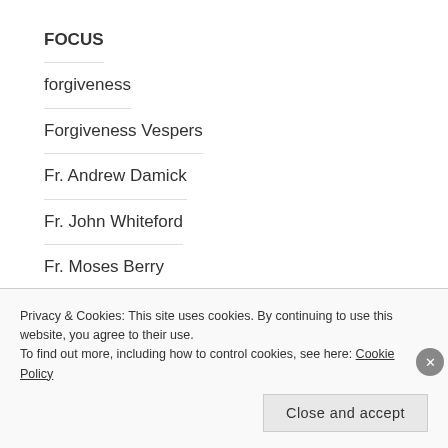FOCUS
forgiveness
Forgiveness Vespers
Fr. Andrew Damick
Fr. John Whiteford
Fr. Moses Berry
Fr. Seraphim Rose
Frederica Matthews-Green
Gandhi
Privacy & Cookies: This site uses cookies. By continuing to use this website, you agree to their use.
To find out more, including how to control cookies, see here: Cookie Policy
Close and accept